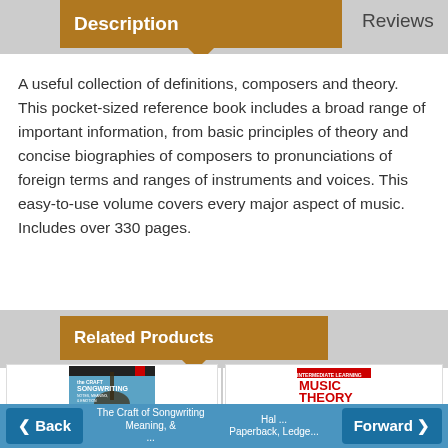Description
Reviews
A useful collection of definitions, composers and theory. This pocket-sized reference book includes a broad range of important information, from basic principles of theory and concise biographies of composers to pronunciations of foreign terms and ranges of instruments and voices. This easy-to-use volume covers every major aspect of music. Includes over 330 pages.
Related Products
[Figure (illustration): Book cover: The Craft of Songwriting by Berklee Press, featuring a guitar image and blue/white design]
BERKLEE PRESS
[Figure (illustration): Book cover: Music Theory by Hal Leonard, red text on white background with instrument imagery]
HAL LEONARD
Back  The Craft of Songwriting  Meaning, &  HAL ...  Paperback, Ledge...  Forward